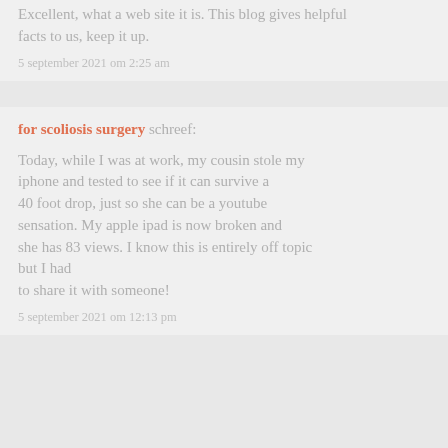Excellent, what a web site it is. This blog gives helpful facts to us, keep it up.
5 september 2021 om 2:25 am
for scoliosis surgery schreef:
Today, while I was at work, my cousin stole my iphone and tested to see if it can survive a 40 foot drop, just so she can be a youtube sensation. My apple ipad is now broken and she has 83 views. I know this is entirely off topic but I had to share it with someone!
5 september 2021 om 12:13 pm